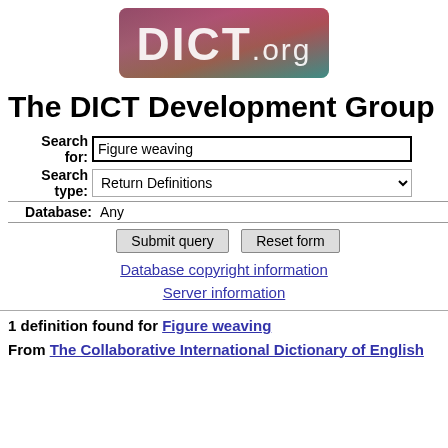[Figure (logo): DICT.org logo with colorful background and white text]
The DICT Development Group
Search for: Figure weaving
Search type: Return Definitions
Database: Any
Submit query | Reset form
Database copyright information
Server information
1 definition found for Figure weaving
From The Collaborative International Dictionary of English